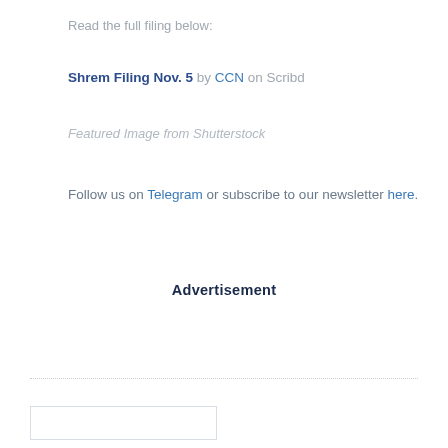Read the full filing below:
Shrem Filing Nov. 5 by CCN on Scribd
Featured Image from Shutterstock
Follow us on Telegram or subscribe to our newsletter here.
Advertisement